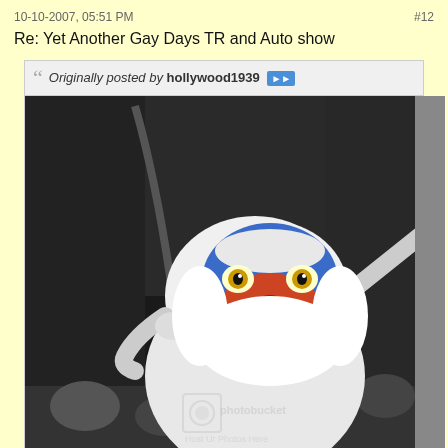10-10-2007, 05:51 PM	#12
Re: Yet Another Gay Days TR and Auto show
Originally posted by hollywood1939
[Figure (photo): Black and white photo with selective color of Rafiki character costume from The Lion King at a Disney park, holding a stick, with colorful face visible. Photobucket watermark visible.]